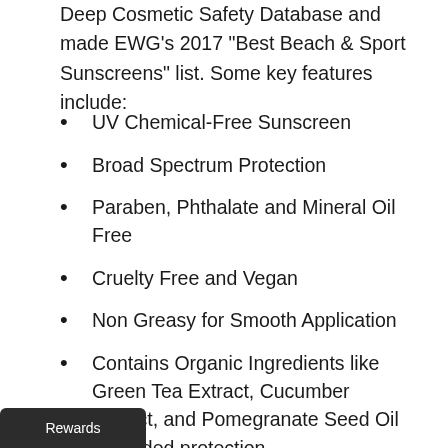Deep Cosmetic Safety Database and made EWG's 2017 "Best Beach & Sport Sunscreens" list. Some key features include:
UV Chemical-Free Sunscreen
Broad Spectrum Protection
Paraben, Phthalate and Mineral Oil Free
Cruelty Free and Vegan
Non Greasy for Smooth Application
Contains Organic Ingredients like Green Tea Extract, Cucumber Extract, and Pomegranate Seed Oil for added protection